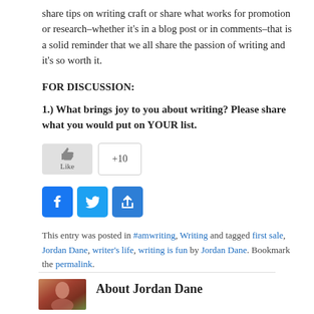share tips on writing craft or share what works for promotion or research–whether it's in a blog post or in comments–that is a solid reminder that we all share the passion of writing and it's so worth it.
FOR DISCUSSION:
1.) What brings joy to you about writing? Please share what you would put on YOUR list.
[Figure (other): Like button with thumbs up icon and +10 share count button]
[Figure (other): Social sharing buttons: Facebook, Twitter, and Share/Plus icons]
This entry was posted in #amwriting, Writing and tagged first sale, Jordan Dane, writer's life, writing is fun by Jordan Dane. Bookmark the permalink.
[Figure (photo): Author photo of Jordan Dane]
About Jordan Dane